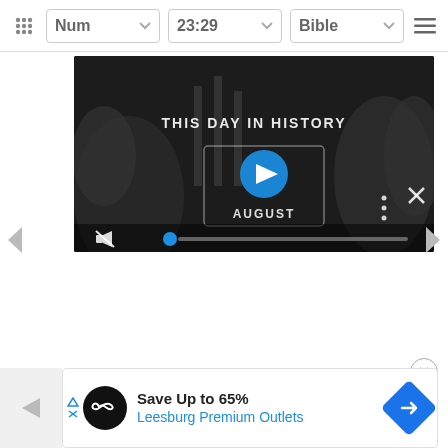Num  23:29  Bible
[Figure (screenshot): Video player showing 'This Day In History' with a play button overlay, mute icon, and blue progress bar. Text reads 'AUGUST' below the play button. Dark background with historical imagery.]
Save Up to 65%
Leesburg Premium Outlets